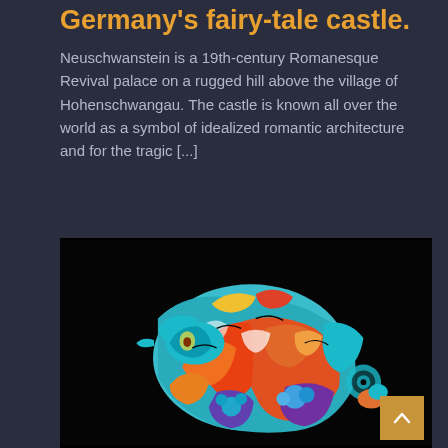Germany's fairy-tale castle.
Neuschwanstein is a 19th-century Romanesque Revival palace on a rugged hill above the village of Hohenschwangau. The castle is known all over the world as a symbol of idealized romantic architecture and for the tragic [...]
[Figure (photo): A colorful body-painted human figure curled into a compact pose against a black background, covered in vibrant psychedelic patterns of teal, orange, red, blue, yellow, and purple.]